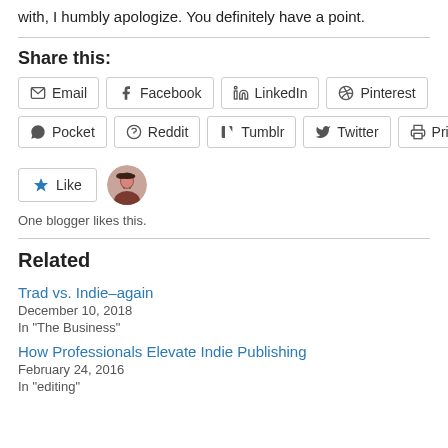with, I humbly apologize. You definitely have a point.
Share this:
Email
Facebook
LinkedIn
Pinterest
Pocket
Reddit
Tumblr
Twitter
Print
One blogger likes this.
Related
Trad vs. Indie–again
December 10, 2018
In "The Business"
How Professionals Elevate Indie Publishing
February 24, 2016
In "editing"